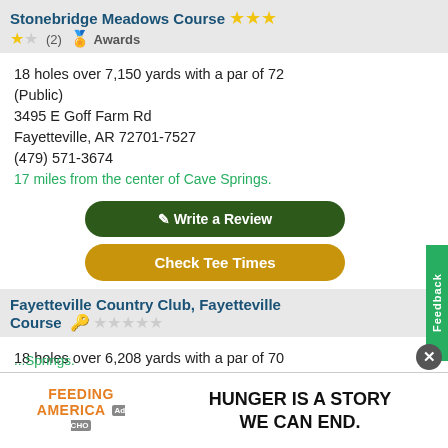Stonebridge Meadows Course ⭐⭐⭐
⭐☆ (2) 🏅 Awards
18 holes over 7,150 yards with a par of 72
(Public)
3495 E Goff Farm Rd
Fayetteville, AR 72701-7527
(479) 571-3674
17 miles from the center of Cave Springs.
✏ Write a Review
Check Tee Times
Fayetteville Country Club, Fayetteville Course 🔑 ☆☆☆☆☆
18 holes over 6,208 yards with a par of 70
(Private)
3335 S Country Club Dr
Fayetteville, AR 72701-9173
... from the center of Cave Springs.
HUNGER IS A STORY WE CAN END.